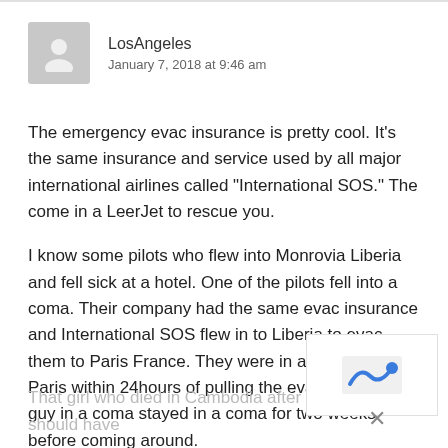[Figure (illustration): Generic user avatar icon — grey silhouette of a person on grey background]
LosAngeles
January 7, 2018 at 9:46 am
The emergency evac insurance is pretty cool. It’s the same insurance and service used by all major international airlines called “International SOS.” The come in a LeerJet to rescue you.
I know some pilots who flew into Monrovia Liberia and fell sick at a hotel. One of the pilots fell into a coma. Their company had the same evac insurance and International SOS flew in to Liberia to evac them to Paris France. They were in a hospital in Paris within 24hours of pulling the evac trigger. The guy in a coma stayed in a coma for two weeks before coming around.
That girl who died in Cambodia after taking pills should have